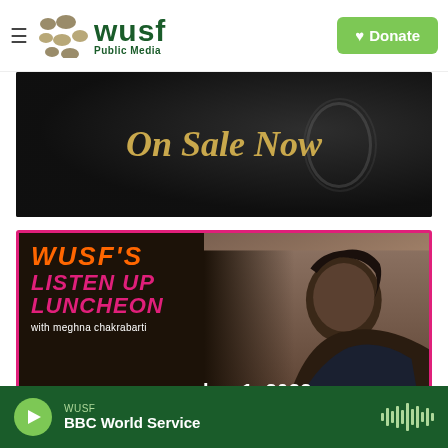WUSF Public Media | Donate
[Figure (photo): Dark banner with 'On Sale Now' text in gold italic serif font, with microphone background]
[Figure (photo): WUSF's Listen Up Luncheon event card with Meghna Chakrabarti photo, orange and pink text, dated november 1, 2022]
WUSF — BBC World Service (audio player bar)